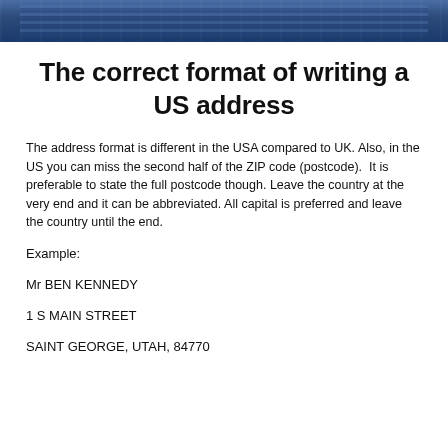[Figure (photo): Partial photo of industrial postal/mail sorting machinery with blue mechanical equipment visible]
The correct format of writing a US address
The address format is different in the USA compared to UK. Also, in the US you can miss the second half of the ZIP code (postcode).  It is preferable to state the full postcode though. Leave the country at the very end and it can be abbreviated. All capital is preferred and leave the country until the end.
Example:
Mr BEN KENNEDY
1 S MAIN STREET
SAINT GEORGE, UTAH, 84770